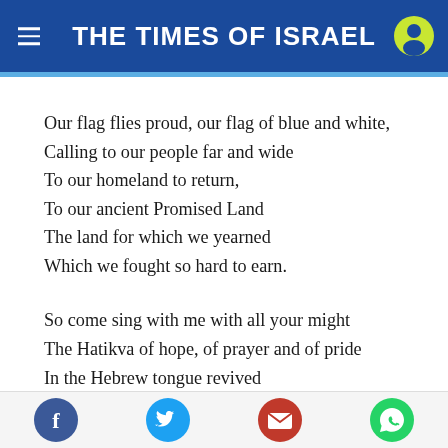THE TIMES OF ISRAEL
Our flag flies proud, our flag of blue and white,
Calling to our people far and wide
To our homeland to return,
To our ancient Promised Land
The land for which we yearned
Which we fought so hard to earn.
So come sing with me with all your might
The Hatikva of hope, of prayer and of pride
In the Hebrew tongue revived